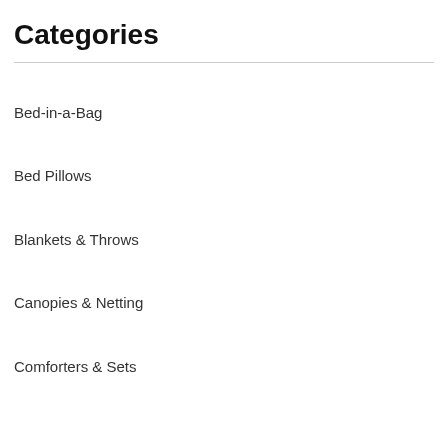Categories
Bed-in-a-Bag
Bed Pillows
Blankets & Throws
Canopies & Netting
Comforters & Sets